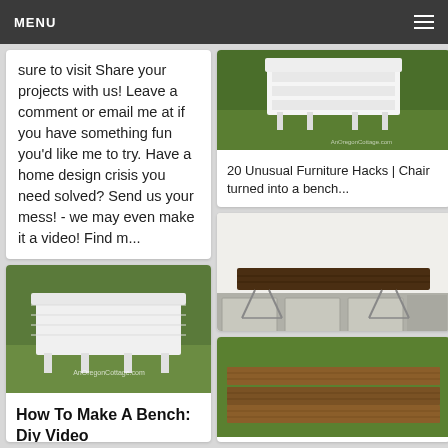MENU
sure to visit Share your projects with us! Leave a comment or email me at if you have something fun you'd like me to try. Have a home design crisis you need solved? Send us your mess! - we may even make it a video! Find m...
[Figure (photo): White bench/furniture on grass with AnOregonCottage.com watermark]
20 Unusual Furniture Hacks | Chair turned into a bench...
[Figure (photo): Modern wooden bench on stone paver patio with gravel]
[Figure (photo): Wooden planks on grass (bench project materials)]
[Figure (photo): Woman in blue shirt leaning over a wooden board outdoors]
How To Make A Bench: Diy Video